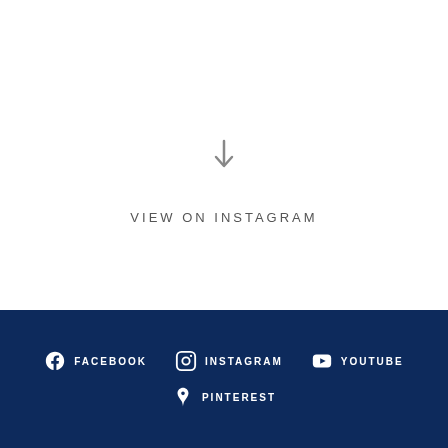[Figure (screenshot): Instagram embed placeholder with a down-arrow icon in the center]
VIEW ON INSTAGRAM
[Figure (infographic): Dark navy footer with social media icons and labels: Facebook, Instagram, YouTube, Pinterest]